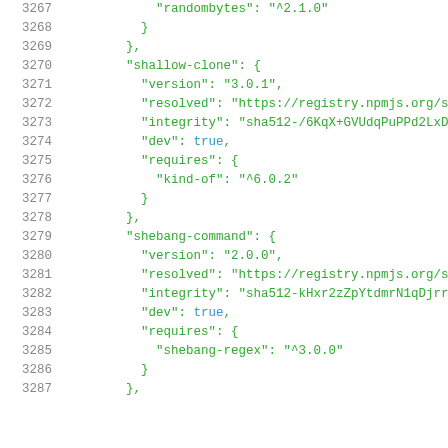Code listing lines 3267-3287: JSON package-lock snippet showing shallow-clone and shebang-command entries